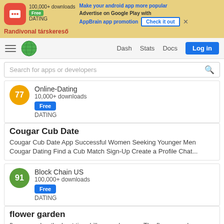[Figure (screenshot): Ad banner for AppBrain app promotion with Randivonal társkereső app, showing 100,000+ downloads, Free badge, DATING category, AppBrain promotion text, Check it out button, and advertise on Google Play text]
[Figure (screenshot): Navigation bar with hamburger menu, globe logo, Dash, Stats, Docs links, and Log in button]
[Figure (screenshot): Search bar with placeholder text: Search for apps or developers]
[Figure (screenshot): App card for Online-Dating with score badge 77, 10,000+ downloads, Free button, DATING category]
Cougar Cub Date
Cougar Cub Date App Successful Women Seeking Younger Men Cougar Dating Find a Cub Match Sign-Up Create a Profile Chat...
[Figure (screenshot): App card for Block Chain US with score badge 91, 100,000+ downloads, Free button, DATING category]
flower garden
flower garden the best time killer puzzle game The flower garden blossom game gives you a unique opportunity to create...
[Figure (screenshot): Partial app card showing teal icon, green score badge, and VICI Studios text]